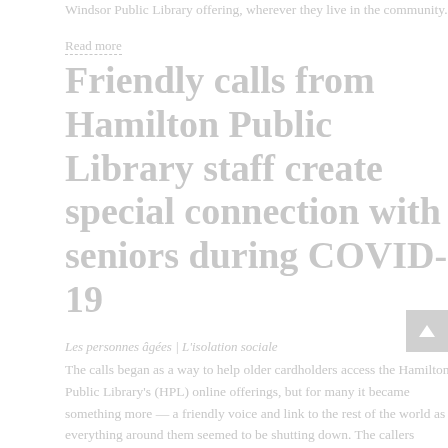Windsor Public Library offering, wherever they live in the community.
Read more
Friendly calls from Hamilton Public Library staff create special connection with seniors during COVID-19
Les personnes âgées | L'isolation sociale
The calls began as a way to help older cardholders access the Hamilton Public Library's (HPL) online offerings, but for many it became something more — a friendly voice and link to the rest of the world as everything around them seemed to be shutting down. The callers contacted those with electronic devices